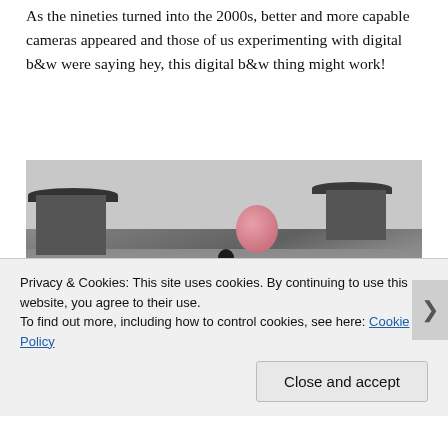As the nineties turned into the 2000s, better and more capable cameras appeared and those of us experimenting with digital b&w were saying hey, this digital b&w thing might work!
[Figure (photo): Black and white photograph of a child silhouetted against a courtyard, reaching up toward a pink/red balloon. Dark umbrella canopy structures are visible on the left and right sides of the frame.]
Privacy & Cookies: This site uses cookies. By continuing to use this website, you agree to their use.
To find out more, including how to control cookies, see here: Cookie Policy
Close and accept